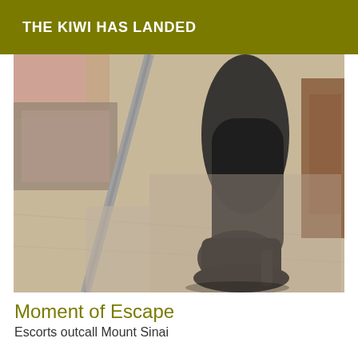THE KIWI HAS LANDED
[Figure (photo): A close-up photo showing a person's leg wearing dark stockings and a high-heeled platform boot, standing on a tiled floor with a mirror and furniture visible in the background.]
Moment of Escape
Escorts outcall Mount Sinai